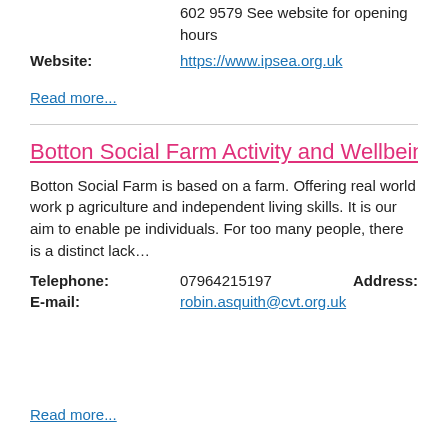602 9579 See website for opening hours
Website: https://www.ipsea.org.uk
Read more...
Botton Social Farm Activity and Wellbeing s
Botton Social Farm is based on a farm. Offering real world work p agriculture and independent living skills. It is our aim to enable pe individuals. For too many people, there is a distinct lack…
Telephone: 07964215197   Address:
E-mail: robin.asquith@cvt.org.uk
Read more...